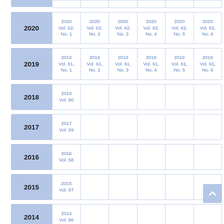| Year | Issue 1 | Issue 2 | Issue 3 | Issue 4 | Issue 5 | Issue 6 |
| --- | --- | --- | --- | --- | --- | --- |
| 2020 | 2020
Vol. 62,
No. 1 | 2020
Vol. 62,
No. 2 | 2020
Vol. 62,
No. 3 | 2020
Vol. 62,
No. 4 | 2020
Vol. 62,
No. 5 | 2020
Vol. 62,
No. 6 |
| 2019 | 2019
Vol. 61,
No. 1 | 2019
Vol. 61,
No. 2 | 2019
Vol. 61,
No. 3 | 2019
Vol. 61,
No. 4 | 2019
Vol. 61,
No. 5 | 2019
Vol. 61,
No. 6 |
| 2018 | 2018
Vol. 60 |  |  |  |  |  |
| 2017 | 2017
Vol. 59 |  |  |  |  |  |
| 2016 | 2016
Vol. 58 |  |  |  |  |  |
| 2015 | 2015
Vol. 57 |  |  |  |  |  |
| 2014 | 2014
Vol. 56 |  |  |  |  |  |